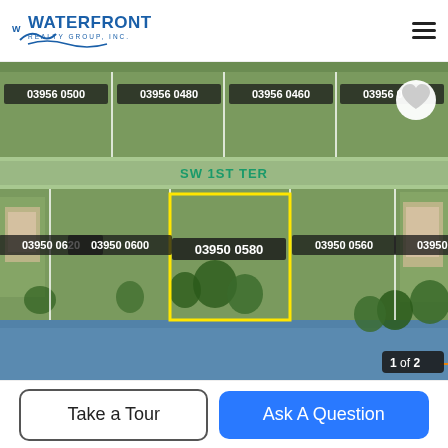Waterfront Realty Group Inc.
[Figure (map): Aerial parcel map showing property lots along SW 1ST TER with parcel IDs: 03956 0500, 03956 0480, 03956 0460, 03956 0440 (top row), and 03950 0620, 03950 0600, 03950 0580 (highlighted in yellow), 03950 0560, 03950 0530 (bottom row). A canal/water body runs along the bottom. Scale indicator shows 100 feet. Image counter shows 1 of 2. A heart/favorite icon appears in top right of map.]
Take a Tour
Ask A Question